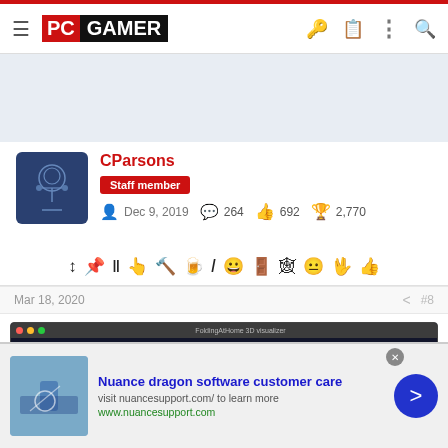PC GAMER
[Figure (screenshot): PC Gamer website navigation bar with logo, hamburger menu, and icons]
CParsons
Staff member
Dec 9, 2019   264   692   2,770
Mar 18, 2020   #8
[Figure (screenshot): FoldingAtHome 3D visualizer screenshot showing Current Work Unit with Project and Clone/Run fields and Donor section]
[Figure (other): Advertisement: Nuance dragon software customer care - visit nuancesupport.com/ to learn more - www.nuancesupport.com]